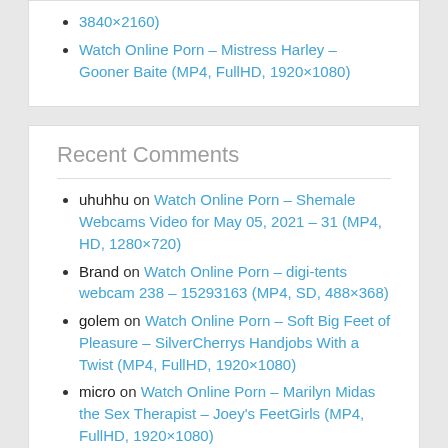Watch Online Porn – Mistress Harley – Gooner Baite (MP4, FullHD, 1920×1080)
Recent Comments
uhuhhu on Watch Online Porn – Shemale Webcams Video for May 05, 2021 – 31 (MP4, HD, 1280×720)
Brand on Watch Online Porn – digi-tents webcam 238 – 15293163 (MP4, SD, 488×368)
golem on Watch Online Porn – Soft Big Feet of Pleasure – SilverCherrys Handjobs With a Twist (MP4, FullHD, 1920×1080)
micro on Watch Online Porn – Marilyn Midas the Sex Therapist – Joey's FeetGirls (MP4, FullHD, 1920×1080)